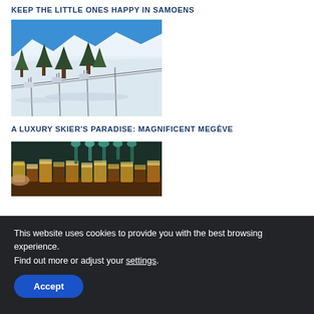KEEP THE LITTLE ONES HAPPY IN SAMOENS
[Figure (photo): Ski lift chairs over snowy slopes with snow-covered pine trees and blue sky in Samoens ski resort]
A LUXURY SKIER'S PARADISE: MAGNIFICENT MEGÈVE
[Figure (photo): Row of beer taps with various beer glasses filled with beer in different shades from light to dark]
This website uses cookies to provide you with the best browsing experience.
Find out more or adjust your settings.
Accept